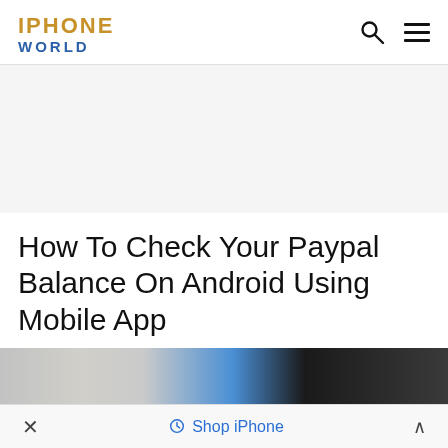IPHONE WORLD
[Figure (other): White advertisement/banner space area]
How To Check Your Paypal Balance On Android Using Mobile App
[Figure (photo): Partial photo showing PayPal-related materials and a mobile phone screen]
× Shop iPhone ∧